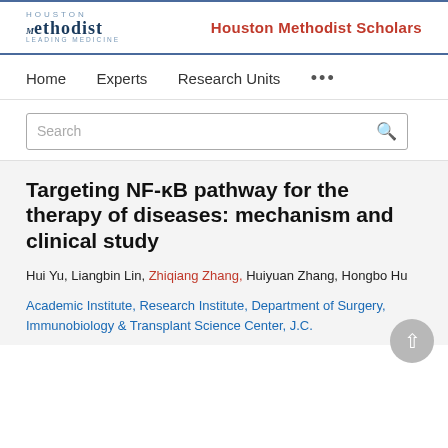Houston Methodist | Houston Methodist Scholars
Home   Experts   Research Units   ...
Search
Targeting NF-κB pathway for the therapy of diseases: mechanism and clinical study
Hui Yu, Liangbin Lin, Zhiqiang Zhang, Huiyuan Zhang, Hongbo Hu
Academic Institute, Research Institute, Department of Surgery, Immunobiology & Transplant Science Center, J.C.